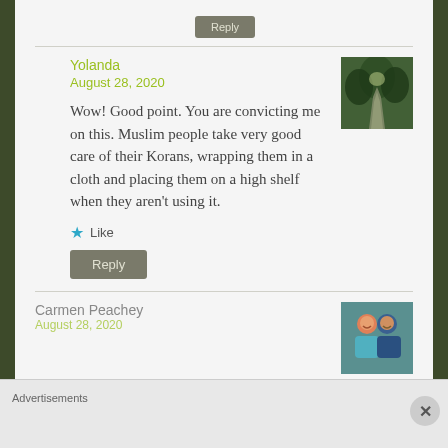Reply
Yolanda
August 28, 2020
[Figure (photo): Avatar image showing a forested path/road]
Wow! Good point. You are convicting me on this. Muslim people take very good care of their Korans, wrapping them in a cloth and placing them on a high shelf when they aren't using it.
Like
Reply
Carmen Peachey
[Figure (photo): Avatar image showing two people]
Advertisements